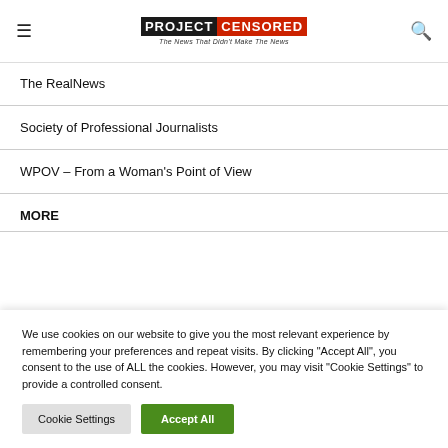PROJECT CENSORED — The News That Didn't Make The News
The RealNews
Society of Professional Journalists
WPOV – From a Woman's Point of View
MORE
We use cookies on our website to give you the most relevant experience by remembering your preferences and repeat visits. By clicking "Accept All", you consent to the use of ALL the cookies. However, you may visit "Cookie Settings" to provide a controlled consent.